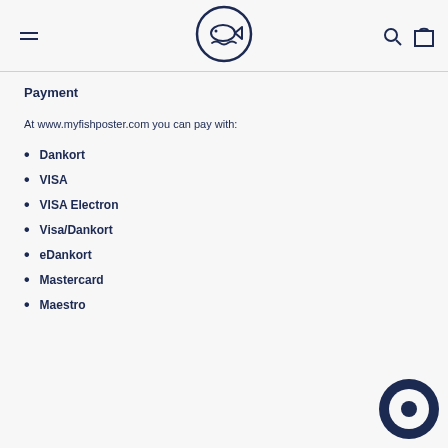myfish poster logo with navigation menu, search, and cart icons
Payment
At www.myfishposter.com you can pay with:
Dankort
VISA
VISA Electron
Visa/Dankort
eDankort
Mastercard
Maestro